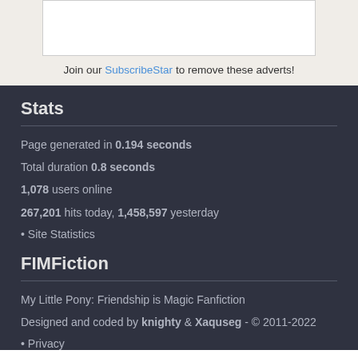Join our SubscribeStar to remove these adverts!
Stats
Page generated in 0.194 seconds
Total duration 0.8 seconds
1,078 users online
267,201 hits today, 1,458,597 yesterday
• Site Statistics
FIMFiction
My Little Pony: Friendship is Magic Fanfiction
Designed and coded by knighty & Xaquseg - © 2011-2022
• Privacy